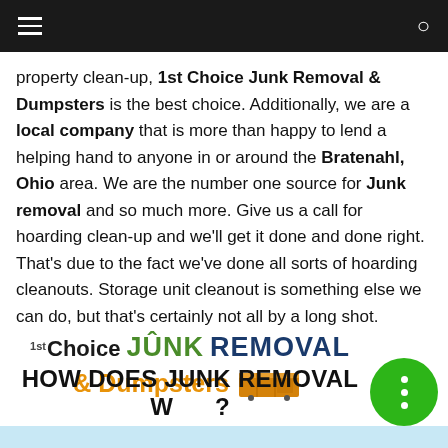Navigation bar with hamburger menu and search icon
property clean-up, 1st Choice Junk Removal & Dumpsters is the best choice. Additionally, we are a local company that is more than happy to lend a helping hand to anyone in or around the Bratenahl, Ohio area. We are the number one source for Junk removal and so much more. Give us a call for hoarding clean-up and we'll get it done and done right. That's due to the fact we've done all sorts of hoarding cleanouts. Storage unit cleanout is something else we can do, but that's certainly not all by a long shot.
[Figure (logo): 1st Choice JUNK REMOVAL & Dumpsters logo with dumpster icon]
HOW DOES JUNK REMOVAL WORK?